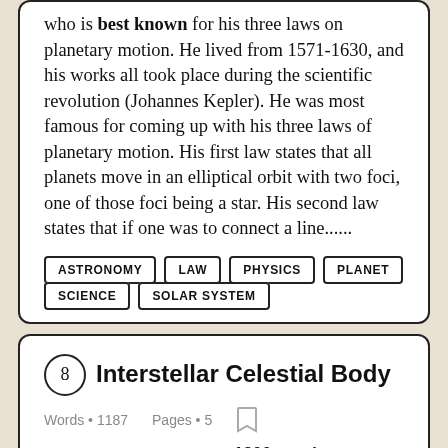who is best known for his three laws on planetary motion. He lived from 1571-1630, and his works all took place during the scientific revolution (Johannes Kepler). He was most famous for coming up with his three laws of planetary motion. His first law states that all planets move in an elliptical orbit with two foci, one of those foci being a star. His second law states that if one was to connect a line......
ASTRONOMY
LAW
PHYSICS
PLANET
SCIENCE
SOLAR SYSTEM
8 Interstellar Celestial Body
Words • 1187    Pages • 5
1200 word essay Examples